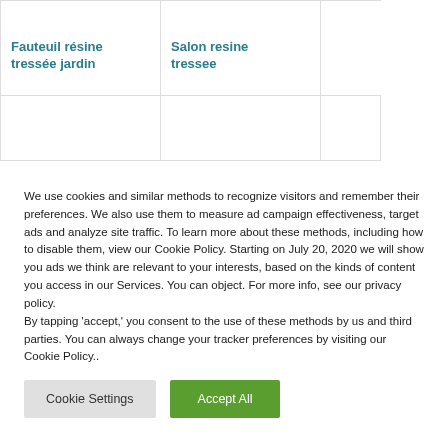Fauteuil résine tressée jardin
Salon resine tressee
We use cookies and similar methods to recognize visitors and remember their preferences. We also use them to measure ad campaign effectiveness, target ads and analyze site traffic. To learn more about these methods, including how to disable them, view our Cookie Policy. Starting on July 20, 2020 we will show you ads we think are relevant to your interests, based on the kinds of content you access in our Services. You can object. For more info, see our privacy policy.
By tapping 'accept,' you consent to the use of these methods by us and third parties. You can always change your tracker preferences by visiting our Cookie Policy..
Cookie Settings
Accept All